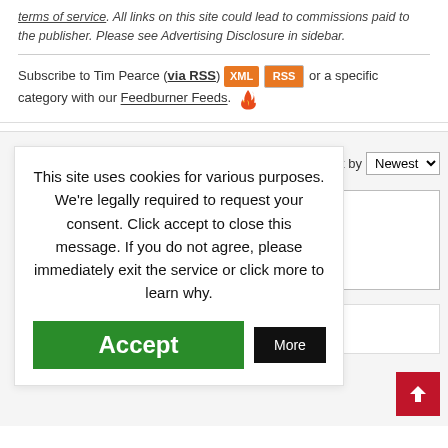terms of service. All links on this site could lead to commissions paid to the publisher. Please see Advertising Disclosure in sidebar.
Subscribe to Tim Pearce (via RSS) XML RSS or a specific category with our Feedburner Feeds.
This site uses cookies for various purposes. We're legally required to request your consent. Click accept to close this message. If you do not agree, please immediately exit the service or click more to learn why.
Accept
More